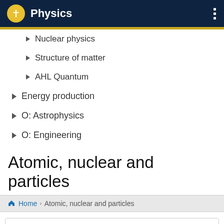Physics
Nuclear physics
Structure of matter
AHL Quantum
Energy production
O: Astrophysics
O: Engineering
Atomic, nuclear and particles
Home > Atomic, nuclear and particles
What to expect
This topic is a whopper for new key words and there is a lot to memorise! In atomic physics, consider how we as scientists